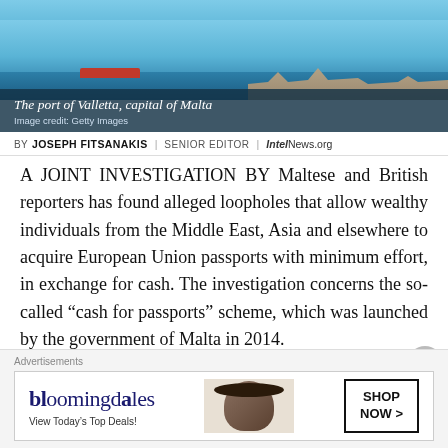[Figure (photo): Aerial view of the port of Valletta, capital of Malta, showing the harbour with water, boats, and historic buildings]
The port of Valletta, capital of Malta
Image credit: Getty Images
BY JOSEPH FITSANAKIS | SENIOR EDITOR | IntelNews.org
A JOINT INVESTIGATION BY Maltese and British reporters has found alleged loopholes that allow wealthy individuals from the Middle East, Asia and elsewhere to acquire European Union passports with minimum effort, in exchange for cash. The investigation concerns the so-called “cash for passports” scheme, which was launched by the government of Malta in 2014.
The scheme allows foreign nationals with no family connection to the island country to acquire a Maltese
[Figure (screenshot): Bloomingdale's advertisement: 'View Today’s Top Deals! SHOP NOW >']